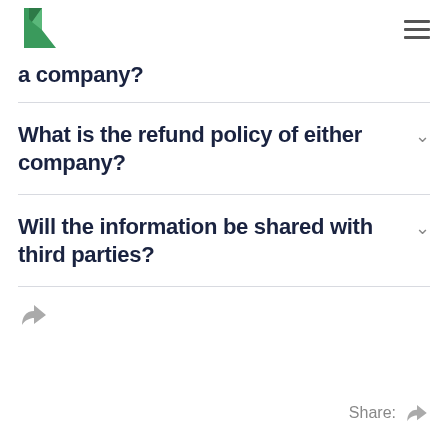[Logo] [Hamburger menu]
a company?
What is the refund policy of either company?
Will the information be shared with third parties?
Share: